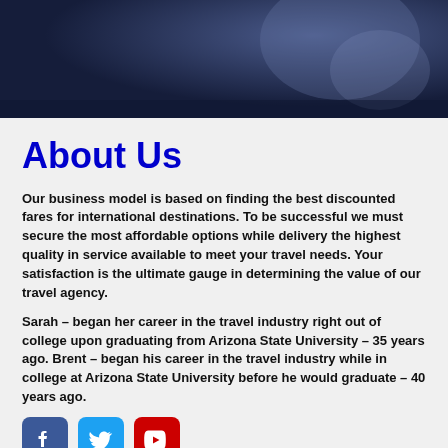[Figure (photo): Dark blue toned photograph showing a person in an airplane or travel setting, cropped at top of page]
About Us
Our business model is based on finding the best discounted fares for international destinations. To be successful we must secure the most affordable options while delivery the highest quality in service available to meet your travel needs. Your satisfaction is the ultimate gauge in determining the value of our travel agency.
Sarah – began her career in the travel industry right out of college upon graduating from Arizona State University – 35 years ago. Brent – began his career in the travel industry while in college at Arizona State University before he would graduate – 40 years ago.
[Figure (illustration): Social media icons: Facebook (blue), Twitter (light blue), YouTube (red)]